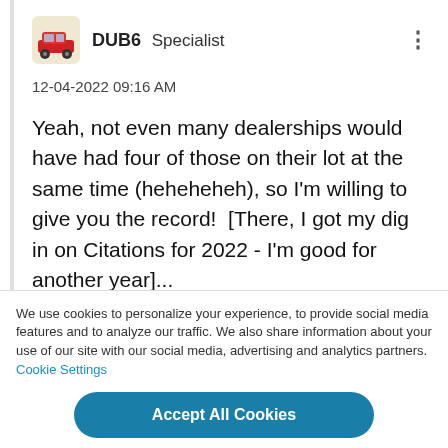DUB6  Specialist
12-04-2022 09:16 AM
Yeah, not even many dealerships would have had four of those on their lot at the same time (heheheheh), so I'm willing to give you the record!  [There, I got my dig in on Citations for 2022 - I'm good for another year]...
We use cookies to personalize your experience, to provide social media features and to analyze our traffic. We also share information about your use of our site with our social media, advertising and analytics partners. Cookie Settings
Accept All Cookies